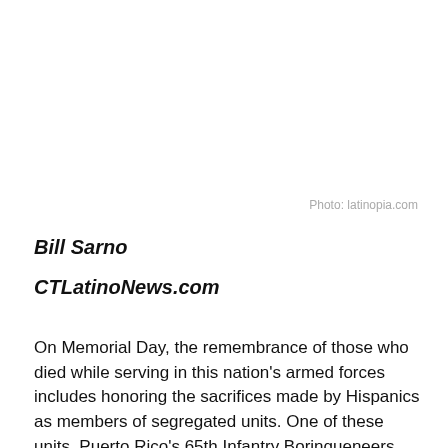Photo: latinopia.com
Bill Sarno
CTLatinoNews.com
On Memorial Day, the remembrance of those who died while serving in this nation's armed forces includes honoring the sacrifices made by Hispanics as members of segregated units.  One of these units, Puerto Rico's 65th Infantry Borinqueneers, have been recognized nationally and in Connecticut for its heroics in Korea more